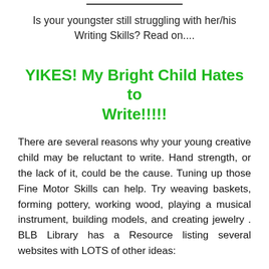Is your youngster still struggling with her/his Writing Skills? Read on....
YIKES! My Bright Child Hates to Write!!!!!
There are several reasons why your young creative child may be reluctant to write. Hand strength, or the lack of it, could be the cause. Tuning up those Fine Motor Skills can help. Try weaving baskets, forming pottery, working wood, playing a musical instrument, building models, and creating jewelry . BLB Library has a Resource listing several websites with LOTS of other ideas: